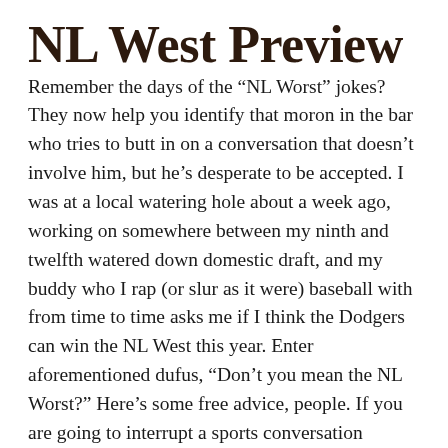NL West Preview
Remember the days of the “NL Worst” jokes? They now help you identify that moron in the bar who tries to butt in on a conversation that doesn’t involve him, but he’s desperate to be accepted. I was at a local watering hole about a week ago, working on somewhere between my ninth and twelfth watered down domestic draft, and my buddy who I rap (or slur as it were) baseball with from time to time asks me if I think the Dodgers can win the NL West this year. Enter aforementioned dufus, “Don’t you mean the NL Worst?” Here’s some free advice, people. If you are going to interrupt a sports conversation between two folks, at least do so at a reasonable volume and with something to add. And if what you’re adding is a cliché that result from a long conversation to hit fine